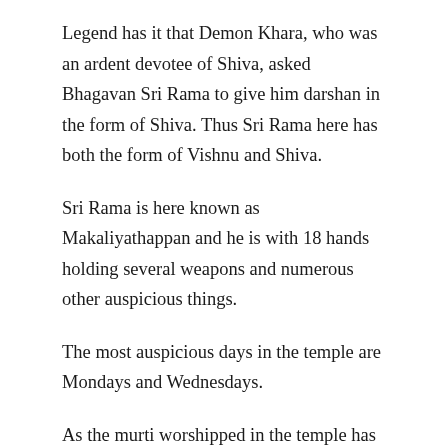Legend has it that Demon Khara, who was an ardent devotee of Shiva, asked Bhagavan Sri Rama to give him darshan in the form of Shiva. Thus Sri Rama here has both the form of Vishnu and Shiva.
Sri Rama is here known as Makaliyathappan and he is with 18 hands holding several weapons and numerous other auspicious things.
The most auspicious days in the temple are Mondays and Wednesdays.
As the murti worshipped in the temple has the presence of Shiva and Sri Rama, the temple has two main priests.
The Upa Devatas worshipped in the temple are Ganapathi